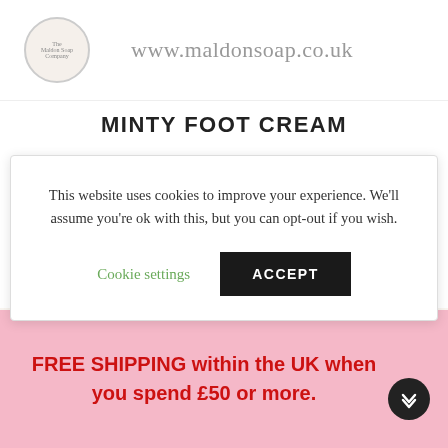[Figure (logo): The Maldon Soap Company circular logo with floral wreath border]
www.maldonsoap.co.uk
MINTY FOOT CREAM
[Figure (other): Five gold star rating icons]
£10.00
This website uses cookies to improve your experience. We'll assume you're ok with this, but you can opt-out if you wish.
Cookie settings
ACCEPT
[Figure (photo): Product photo of Minty Foot Cream in a white cream jar]
FREE SHIPPING within the UK when you spend £50 or more.